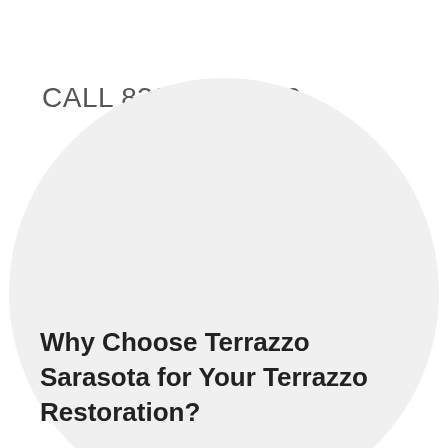CALL 833-837-7299
first. Learn how you can benefit from our years of experience, knowledge and expertise by contacting us today. We look forward to working with you!
Why Choose Terrazzo Sarasota for Your Terrazzo Restoration?